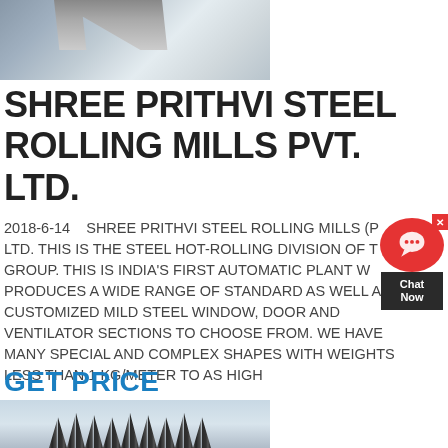[Figure (photo): Industrial steel rolling mill facility exterior, black and white, showing scaffolding and structures]
SHREE PRITHVI STEEL ROLLING MILLS PVT. LTD.
2018-6-14    SHREE PRITHVI STEEL ROLLING MILLS (P) LTD. THIS IS THE STEEL HOT-ROLLING DIVISION OF THE GROUP. THIS IS INDIA'S FIRST AUTOMATIC PLANT WHICH PRODUCES A WIDE RANGE OF STANDARD AS WELL AS CUSTOMIZED MILD STEEL WINDOW, DOOR AND VENTILATOR SECTIONS TO CHOOSE FROM. WE HAVE MANY SPECIAL AND COMPLEX SHAPES WITH WEIGHTS LESS THAN 1 KG/METER TO AS HIGH
GET PRICE
[Figure (photo): Industrial crane/conveyor equipment at a steel mill facility]